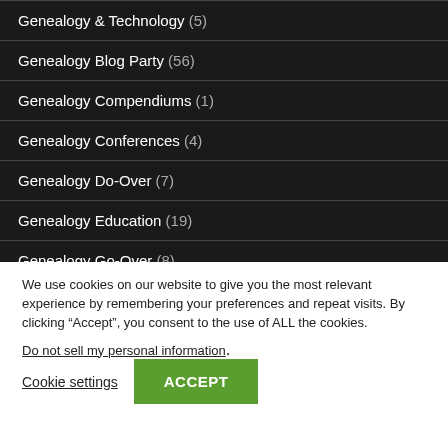Genealogy & Technology (5)
Genealogy Blog Party (56)
Genealogy Compendiums (1)
Genealogy Conferences (4)
Genealogy Do-Over (7)
Genealogy Education (19)
Genealogy Go-Over (8)
We use cookies on our website to give you the most relevant experience by remembering your preferences and repeat visits. By clicking “Accept”, you consent to the use of ALL the cookies.
Do not sell my personal information.
Cookie settings  ACCEPT